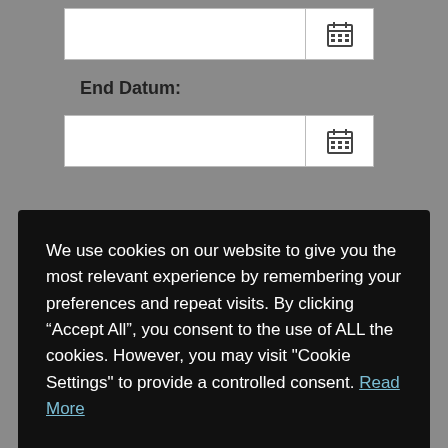[Figure (screenshot): Date input field with calendar icon button, first row]
End Datum:
[Figure (screenshot): Date input field with calendar icon button, second row (partially visible)]
We use cookies on our website to give you the most relevant experience by remembering your preferences and repeat visits. By clicking “Accept All”, you consent to the use of ALL the cookies. However, you may visit "Cookie Settings" to provide a controlled consent. Read More
Add to cart
SKU: 10016-xCategories: Windsurf-Kurse Kinder, Windsurfing